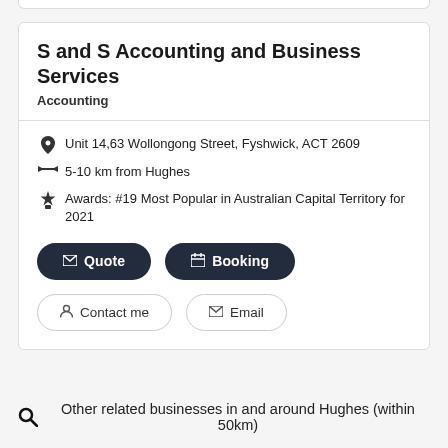S and S Accounting and Business Services
Accounting
Unit 14,63 Wollongong Street, Fyshwick, ACT 2609
5-10 km from Hughes
Awards: #19 Most Popular in Australian Capital Territory for 2021
Quote
Booking
Contact me
Email
Other related businesses in and around Hughes (within 50km)